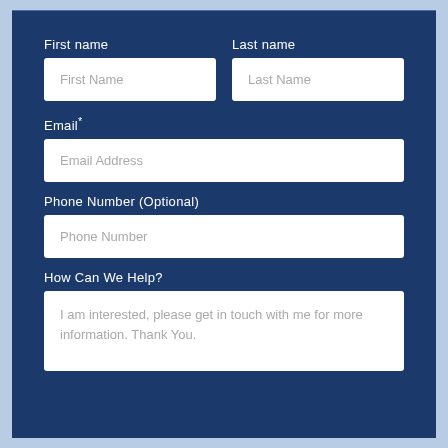First name
Last name
First Name
Last Name
Email*
Email Address
Phone Number (Optional)
Phone Number
How Can We Help?
I am interested, please get in touch with me for more information. Thank You.